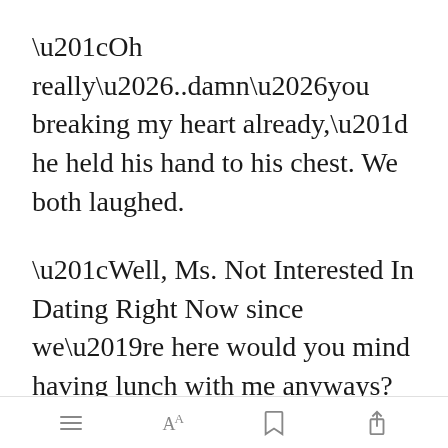“Oh really…..damn…you breaking my heart already,” he held his hand to his chest. We both laughed.
“Well, Ms. Not Interested In Dating Right Now since we’re here would you mind having lunch with me anyways?”
“Sure why not we came all this way
[Figure (screenshot): Green 'Open in app' button overlay in the text]
Toolbar with menu, font size, bookmark, and share icons